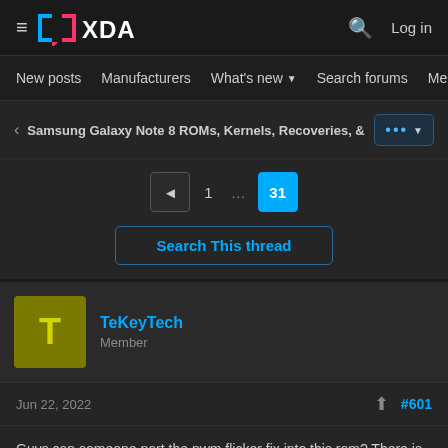XDA Developers — Log in
New posts  Manufacturers  What's new  Search forums  Members
Samsung Galaxy Note 8 ROMs, Kernels, Recoveries, &
Pagination: 1 … 31
Search This thread
TeKeyTech
Member
Jun 22, 2022  #601
Guys can someone port the pwm flicker fix into this rom? There is a lot of black crush in my s8 in certain brightness level especially mid to high brightness. At 100% no problem, after a certain still has black crush for